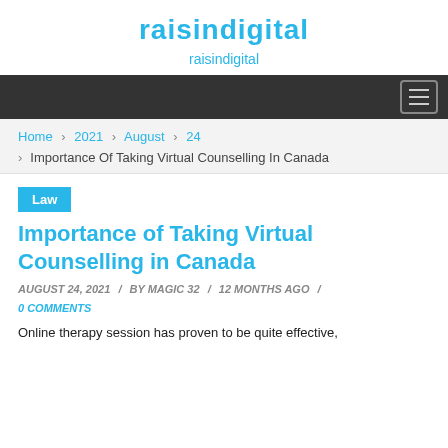raisindigital
raisindigital
Navigation bar with hamburger menu
Home > 2021 > August > 24
> Importance Of Taking Virtual Counselling In Canada
Law
Importance of Taking Virtual Counselling in Canada
AUGUST 24, 2021 / BY MAGIC 32 / 12 MONTHS AGO / 0 COMMENTS
Online therapy session has proven to be quite effective,